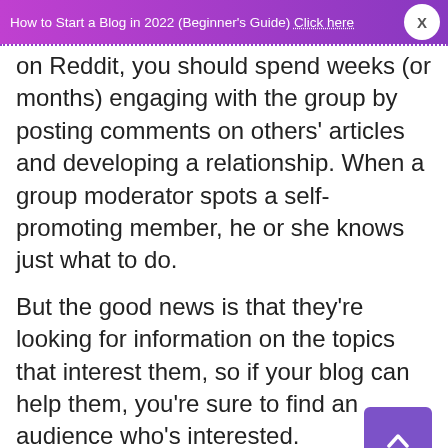How to Start a Blog in 2022 (Beginner's Guide) Click here X
on Reddit, you should spend weeks (or months) engaging with the group by posting comments on others' articles and developing a relationship. When a group moderator spots a self-promoting member, he or she knows just what to do.
But the good news is that they're looking for information on the topics that interest them, so if your blog can help them, you're sure to find an audience who's interested.
So once you've done your homework and know what...